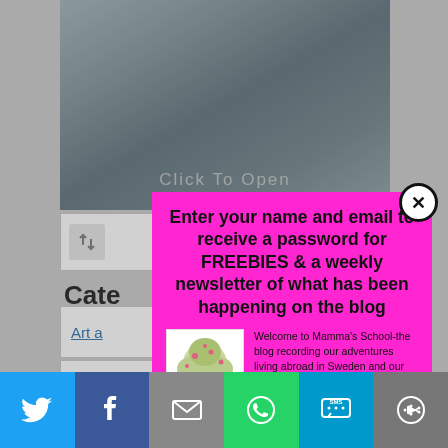[Figure (screenshot): Background website screenshot showing a blog page with a mountain/landscape image at top with 'Click To Open' text, navigation elements, 'Cate...' heading visible, 'Art a...' and 'Book...' category links]
[Figure (screenshot): Pink modal popup overlay with close button (X in circle). Contains bold headline 'Enter your name and email to receive a password for FREEBIES & a weekly newsletter of what has been happening on the blog', a logo image of a tree, descriptive text about Mamma's School blog, and two input fields for first name and email]
Enter your name and email to receive a password for FREEBIES & a weekly newsletter of what has been happening on the blog
Welcome to Mamma's School-the blog recording our adventures living abroad in Sweden and our outdoor life. To learn about life in Sweden, outdoor cooking, craft, and getting the family outdoors SIGN UP NOW :-)
Enter your first name here
Enter a valid email here
Click To Open
ages
Cate
Art a
Book
This we... e. We'll assum... wish
[Figure (infographic): Social sharing bar at bottom with 6 colored buttons: Twitter (light blue), Facebook (dark blue), Email (grey), WhatsApp (green), SMS (blue), More options (grey)]